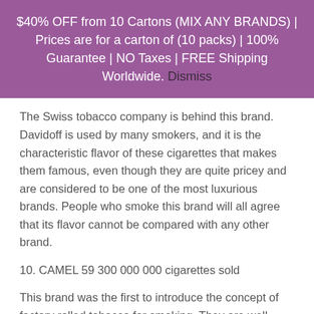$40% OFF from 10 Cartons (MIX ANY BRANDS) | Prices are for a carton of (10 packs) | 100% Guarantee | NO Taxes | FREE Shipping Worldwide. Dismiss
The Swiss tobacco company is behind this brand. Davidoff is used by many smokers, and it is the characteristic flavor of these cigarettes that makes them famous, even though they are quite pricey and are considered to be one of the most luxurious brands. People who smoke this brand will all agree that its flavor cannot be compared with any other brand.
10. CAMEL 59 300 000 000 cigarettes sold
This brand was the first to introduce the concept of factory rolled tobacco for smoking. They are well known for their unique flavor that comes from the use of Turkish and Virginian tobacco, as well as for their ability to burn smoothly and evenly. Camel comes as the one of the